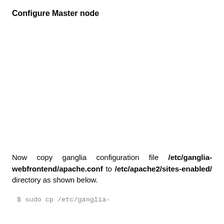Configure Master node
Now copy ganglia configuration file /etc/ganglia-webfrontend/apache.conf to /etc/apache2/sites-enabled/ directory as shown below.
$ sudo cp /etc/ganglia-